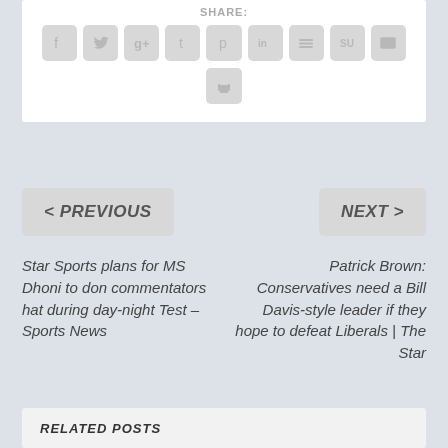SHARE:
[Figure (screenshot): Social media share buttons: Facebook, Twitter, Google+, Tumblr, Pinterest, LinkedIn, Buffer, StumbleUpon, Email, Print]
< PREVIOUS
NEXT >
Star Sports plans for MS Dhoni to don commentators hat during day-night Test – Sports News
Patrick Brown: Conservatives need a Bill Davis-style leader if they hope to defeat Liberals | The Star
RELATED POSTS